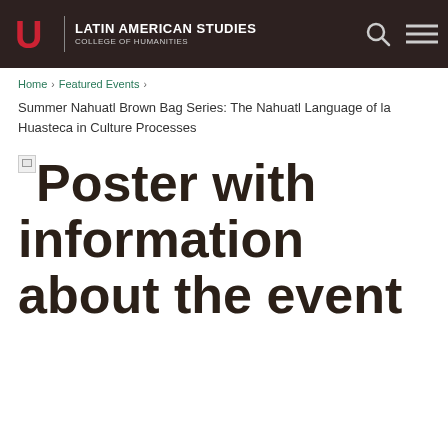LATIN AMERICAN STUDIES | COLLEGE OF HUMANITIES
Home › Featured Events ›
Summer Nahuatl Brown Bag Series: The Nahuatl Language of la Huasteca in Culture Processes
[Figure (other): Broken image placeholder followed by large alt text reading: Poster with information about the event]